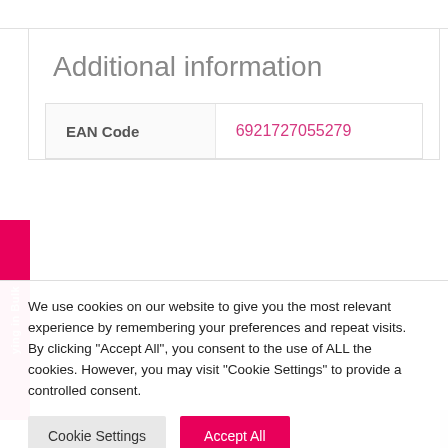Additional information
| EAN Code | 6921727055279 |
| --- | --- |
We use cookies on our website to give you the most relevant experience by remembering your preferences and repeat visits. By clicking “Accept All”, you consent to the use of ALL the cookies. However, you may visit "Cookie Settings" to provide a controlled consent.
Cookie Settings
Accept All